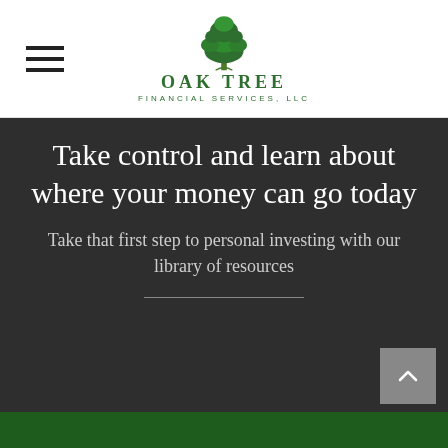Oak Tree Financial Services, LLC
Take control and learn about where your money can go today
Take that first step to personal investing with our library of resources